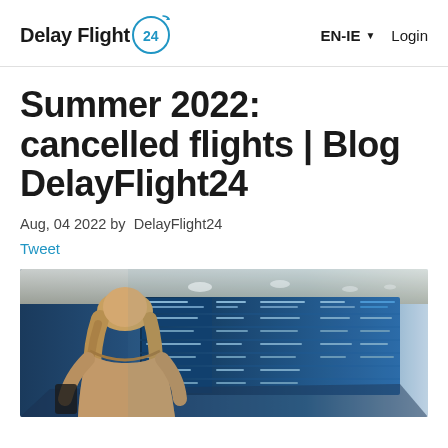Delay Flight 24 | EN-IE | Login
Summer 2022: cancelled flights | Blog DelayFlight24
Aug, 04 2022 by DelayFlight24
Tweet
[Figure (photo): Woman with long blonde hair seen from behind, wearing a camel coat, standing in an airport terminal looking at a large departure/arrival board with blue screens showing flight information.]